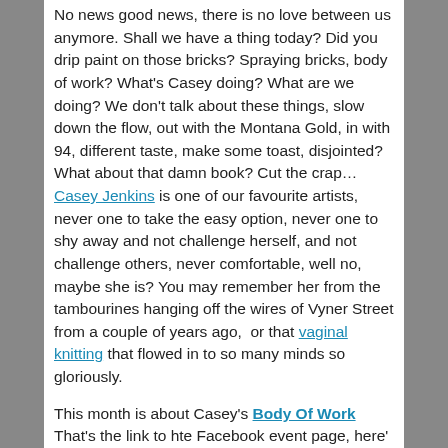No news good news, there is no love between us anymore. Shall we have a thing today? Did you drip paint on those bricks? Spraying bricks, body of work? What's Casey doing? What are we doing? We don't talk about these things, slow down the flow, out with the Montana Gold, in with 94, different taste, make some toast, disjointed? What about that damn book? Cut the crap... Casey Jenkins is one of our favourite artists, never one to take the easy option, never one to shy away and not challenge herself, and not challenge others, never comfortable, well no, maybe she is? You may remember her from the tambourines hanging off the wires of Vyner Street from a couple of years ago,  or that vaginal knitting that flowed in to so many minds so gloriously.
This month is about Casey's Body Of Work   That's the link to hte Facebook event page, here' the link to the Australian artist's 'proper' website
[Figure (photo): Two side-by-side images: left shows a dark textured surface (possibly brickwork or layered material), right shows a light grey/white abstract image with a diagonal line.]